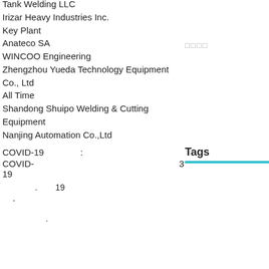Tank Welding LLC
Irizar Heavy Industries Inc.
Key Plant
Anateco SA
WINCOO Engineering
Zhengzhou Yueda Technology Equipment Co., Ltd
All Time
Shandong Shuipo Welding & Cutting Equipment
Nanjing Automation Co.,Ltd
□□□□
Tags
COVID-19 :
COVID-19  3
. 19
'
.